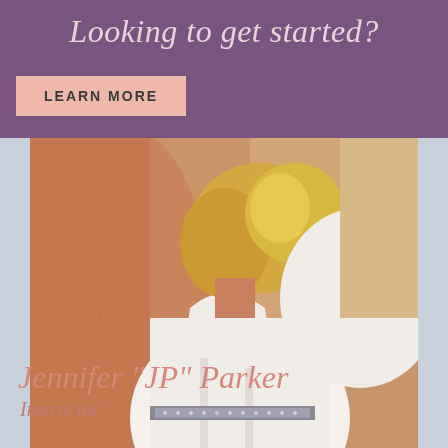Looking to get started?
LEARN MORE
[Figure (photo): Blonde woman in white top leaning forward, photographed from above/side angle, warm outdoor lighting]
Jennifer "JP" Parker
Instructor